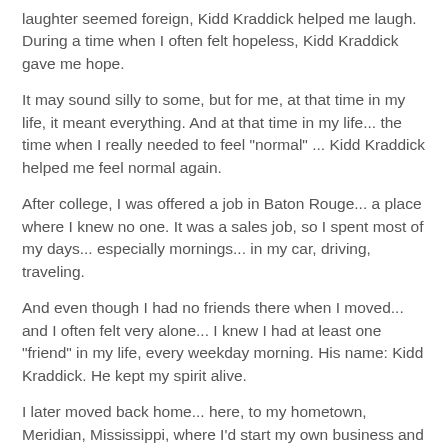laughter seemed foreign, Kidd Kraddick helped me laugh. During a time when I often felt hopeless, Kidd Kraddick gave me hope.
It may sound silly to some, but for me, at that time in my life, it meant everything. And at that time in my life... the time when I really needed to feel "normal" ... Kidd Kraddick helped me feel normal again.
After college, I was offered a job in Baton Rouge... a place where I knew no one. It was a sales job, so I spent most of my days... especially mornings... in my car, driving, traveling.
And even though I had no friends there when I moved... and I often felt very alone... I knew I had at least one "friend" in my life, every weekday morning. His name: Kidd Kraddick. He kept my spirit alive.
I later moved back home... here, to my hometown, Meridian, Mississippi, where I'd start my own business and charity. It was one of the best --and most difficult-- decisions I ever